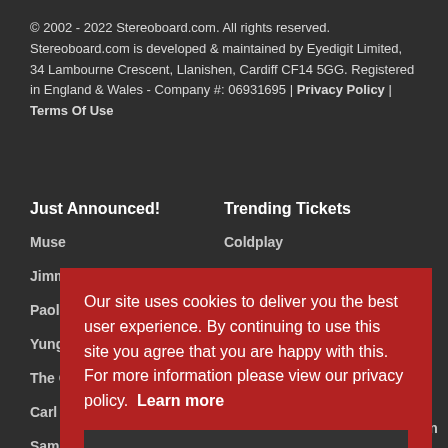© 2002 - 2022 Stereoboard.com. All rights reserved. Stereoboard.com is developed & maintained by Eyedigit Limited, 34 Lambourne Crescent, Llanishen, Cardiff CF14 5GG. Registered in England & Wales - Company #: 06931695 | Privacy Policy | Terms Of Use
Just Announced!
Trending Tickets
Muse
Coldplay
Jimmy Carr
Bruce Springsteen
Paolo Nutini
RuPauls Drag Race
Yungblud
NFC London
The Game
Paolo Nutini
Carl Cox
Reading Festival
Sam Ryder
Leeds Festival
Belsonic
Eubank Jr V Benn
Our site uses cookies to deliver you the best user experience. By continuing to use this site you agree that you are happy with this. For more information please view our privacy policy. Learn more
Agree and Continue